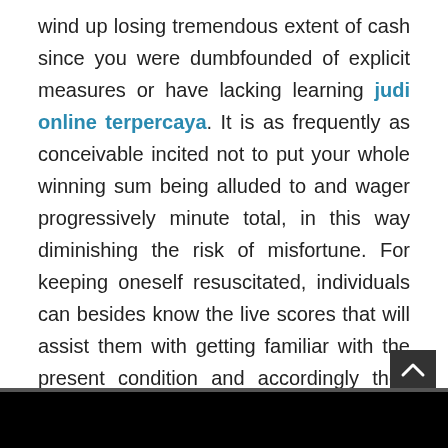wind up losing tremendous extent of cash since you were dumbfounded of explicit measures or have lacking learning judi online terpercaya. It is as frequently as conceivable incited not to put your whole winning sum being alluded to and wager progressively minute total, in this way diminishing the risk of misfortune. For keeping oneself resuscitated, individuals can besides know the live scores that will assist them with getting familiar with the present condition and accordingly they can in like way change their betting structures in like manner.